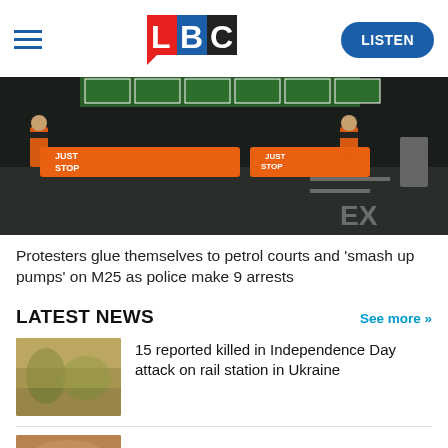LBC — LISTEN
[Figure (photo): Night-time photo of Just Stop Oil protesters wearing orange vests standing near orange barriers with 'JUST STOP OIL' branding on a road, possibly near the M25.]
Protesters glue themselves to petrol courts and 'smash up pumps' on M25 as police make 9 arrests
LATEST NEWS
See more »
[Figure (photo): Thumbnail image showing a hazy outdoor scene, likely related to Ukraine news story.]
15 reported killed in Independence Day attack on rail station in Ukraine
[Figure (photo): Thumbnail image partially visible at bottom of page.]